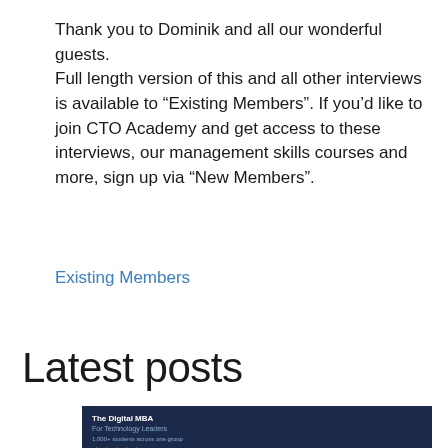Thank you to Dominik and all our wonderful guests. Full length version of this and all other interviews is available to “Existing Members”. If you’d like to join CTO Academy and get access to these interviews, our management skills courses and more, sign up via “New Members”.
Existing Members
Latest posts
[Figure (other): Dark navy blue banner image for The Digital MBA For Technology Leaders with star rating and description text]